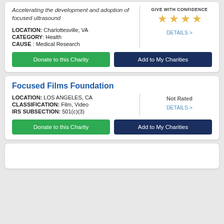Accelerating the development and adoption of focused ultrasound
GIVE WITH CONFIDENCE ★★★★
DETAILS >
LOCATION: Charlottesville, VA
CATEGORY: Health
CAUSE : Medical Research
Donate to this Charity
Add to My Charities
Focused Films Foundation
LOCATION: LOS ANGELES, CA
CLASSIFICATION: Film, Video
IRS SUBSECTION: 501(c)(3)
Not Rated
DETAILS >
Donate to this Charity
Add to My Charities